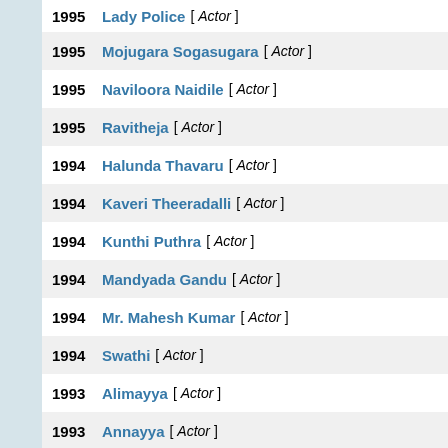1995 Lady Police [Actor]
1995 Mojugara Sogasugara [Actor]
1995 Naviloora Naidile [Actor]
1995 Ravitheja [Actor]
1994 Halunda Thavaru [Actor]
1994 Kaveri Theeradalli [Actor]
1994 Kunthi Puthra [Actor]
1994 Mandyada Gandu [Actor]
1994 Mr. Mahesh Kumar [Actor]
1994 Swathi [Actor]
1993 Alimayya [Actor]
1993 Annayya [Actor]
1993 Dakshayini [Actor]